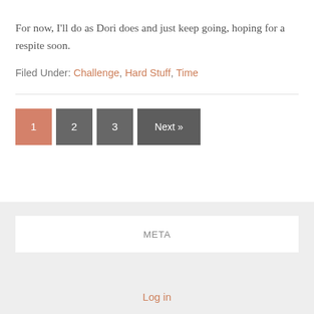For now, I'll do as Dori does and just keep going, hoping for a respite soon.
Filed Under: Challenge, Hard Stuff, Time
1 2 3 Next »
META
Log in